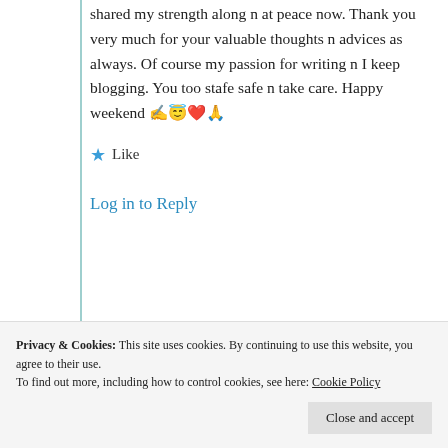shared my strength along n at peace now. Thank you very much for your valuable thoughts n advices as always. Of course my passion for writing n I keep blogging. You too stafe safe n take care. Happy weekend ✍️😇🧡🙏
★ Like
Log in to Reply
Privacy & Cookies: This site uses cookies. By continuing to use this website, you agree to their use.
To find out more, including how to control cookies, see here: Cookie Policy